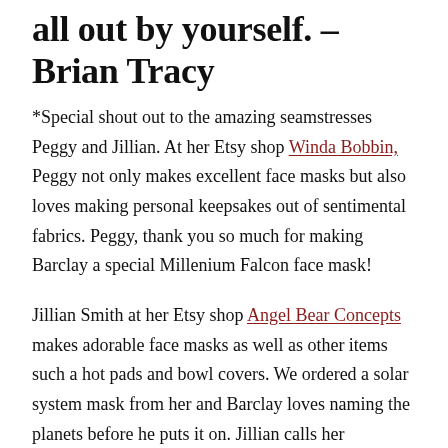all out by yourself. – Brian Tracy
*Special shout out to the amazing seamstresses Peggy and Jillian. At her Etsy shop Winda Bobbin, Peggy not only makes excellent face masks but also loves making personal keepsakes out of sentimental fabrics. Peggy, thank you so much for making Barclay a special Millenium Falcon face mask!
Jillian Smith at her Etsy shop Angel Bear Concepts makes adorable face masks as well as other items such a hot pads and bowl covers. We ordered a solar system mask from her and Barclay loves naming the planets before he puts it on. Jillian calls her creations, “handmade items made with a mother’s love.” Thank you, Jillian!